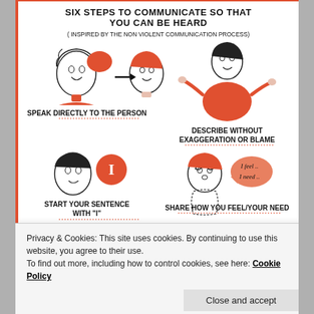[Figure (infographic): Six Steps to Communicate So That You Can Be Heard infographic inspired by the Non Violent Communication Process. Shows illustrated characters demonstrating: Speak directly to the person, Describe without exaggeration or blame, Start your sentence with 'I', Share how you feel/your need, and two more steps partially visible. Characters include people with speech bubbles and illustrations.]
Privacy & Cookies: This site uses cookies. By continuing to use this website, you agree to their use.
To find out more, including how to control cookies, see here: Cookie Policy
Close and accept